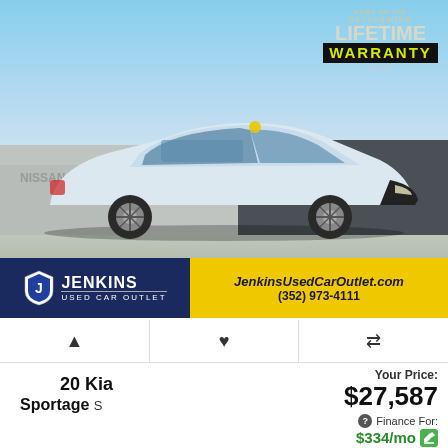[Figure (photo): White Kia Sportage SUV parked in front of Jenkins Nissan dealership with Nationwide Lifetime Warranty badge overlay in upper right corner]
JenkinsUsedCarOutlet.com
(352) 973-4111
20 Kia Sportage S
Your Price:
$27,587
Finance For:
$334/mo